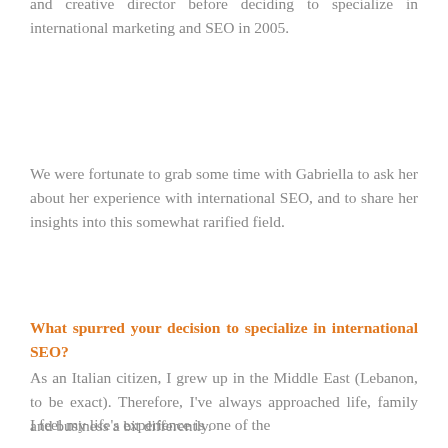and creative director before deciding to specialize in international marketing and SEO in 2005.
We were fortunate to grab some time with Gabriella to ask her about her experience with international SEO, and to share her insights into this somewhat rarified field.
What spurred your decision to specialize in international SEO?
As an Italian citizen, I grew up in the Middle East (Lebanon, to be exact). Therefore, I've always approached life, family and business a bit differently.
I feel my life's experience is one of the